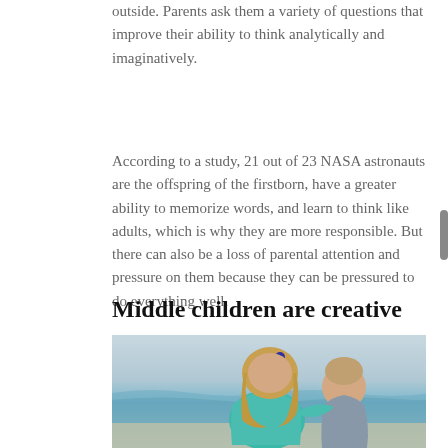outside. Parents ask them a variety of questions that improve their ability to think analytically and imaginatively.
According to a study, 21 out of 23 NASA astronauts are the offspring of the firstborn, have a greater ability to memorize words, and learn to think like adults, which is why they are more responsible. But there can also be a loss of parental attention and pressure on them because they can be pressured to do everything well.
Middle children are creative
[Figure (photo): Two children at a beach — a girl with long blonde hair wearing a teal patterned top looking at a younger boy wearing a grey outfit, both seen from behind/side]